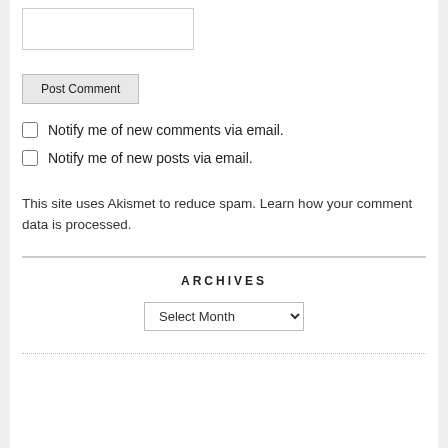[text input box]
Post Comment
Notify me of new comments via email.
Notify me of new posts via email.
This site uses Akismet to reduce spam. Learn how your comment data is processed.
ARCHIVES
Select Month